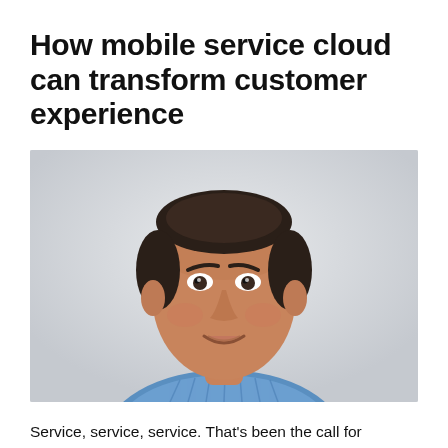How mobile service cloud can transform customer experience
[Figure (photo): Headshot of a man with dark hair, smiling, wearing a blue checkered shirt, against a light grey background.]
Service, service, service. That’s been the call for